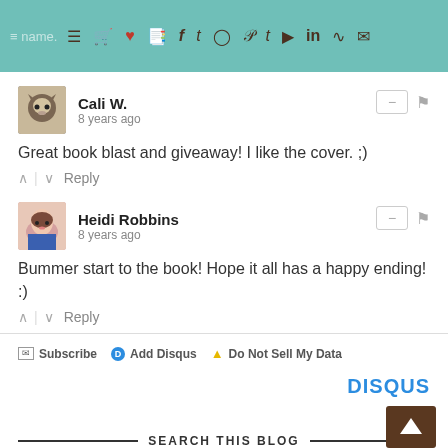Navigation bar with site name and social icons
Cali W. • 8 years ago
Great book blast and giveaway! I like the cover. ;)
Heidi Robbins • 8 years ago
Bummer start to the book! Hope it all has a happy ending! :)
Subscribe  Add Disqus  Do Not Sell My Data  DISQUS
SEARCH THIS BLOG